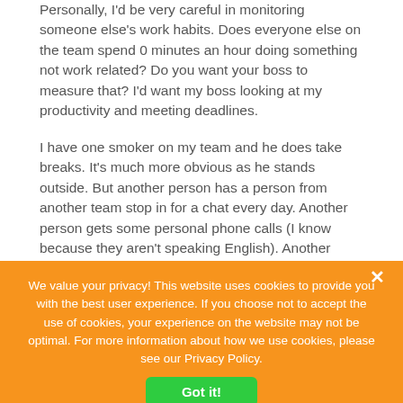Personally, I'd be very careful in monitoring someone else's work habits. Does everyone else on the team spend 0 minutes an hour doing something not work related? Do you want your boss to measure that? I'd want my boss looking at my productivity and meeting deadlines.
I have one smoker on my team and he does take breaks. It's much more obvious as he stands outside. But another person has a person from another team stop in for a chat every day. Another person gets some personal phone calls (I know because they aren't speaking English). Another person likes do the the crossword first thing in the morning. But they all get their work done to some aggressive schedules, step up when I ask, are growing in their skills every year, etc. So, I let each have their pleasures. But expect those to take a sideline when we need to meet a deadline. Shared values.
We value your privacy! This website uses cookies to provide you with the best user experience. If you choose not to accept the use of cookies, your experience on the website may not be optimal. For more information about how we use cookies, please see our Privacy Policy.